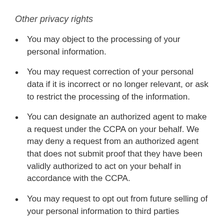Other privacy rights
You may object to the processing of your personal information.
You may request correction of your personal data if it is incorrect or no longer relevant, or ask to restrict the processing of the information.
You can designate an authorized agent to make a request under the CCPA on your behalf. We may deny a request from an authorized agent that does not submit proof that they have been validly authorized to act on your behalf in accordance with the CCPA.
You may request to opt out from future selling of your personal information to third parties